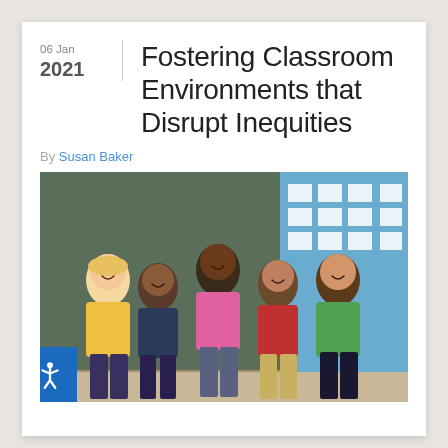06 Jan 2021
Fostering Classroom Environments that Disrupt Inequities
By Susan Baker
[Figure (photo): Five smiling elementary school children of diverse backgrounds standing together in front of a chalkboard in a classroom, arms around each other.]